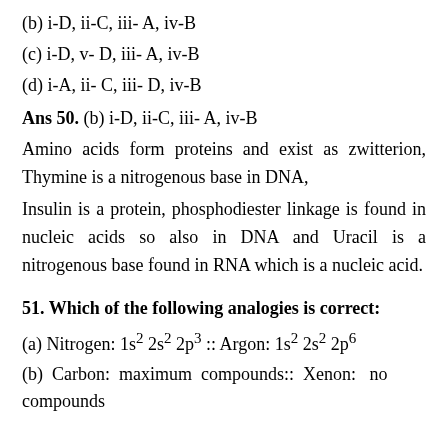(b) i-D, ii-C, iii- A, iv-B
(c) i-D, v- D, iii- A, iv-B
(d) i-A, ii- C, iii- D, iv-B
Ans 50. (b) i-D, ii-C, iii- A, iv-B
Amino acids form proteins and exist as zwitterion, Thymine is a nitrogenous base in DNA,
Insulin is a protein, phosphodiester linkage is found in nucleic acids so also in DNA and Uracil is a nitrogenous base found in RNA which is a nucleic acid.
51. Which of the following analogies is correct:
(a) Nitrogen: 1s² 2s² 2p³ :: Argon: 1s² 2s² 2p⁶
(b) Carbon: maximum compounds:: Xenon: no compounds